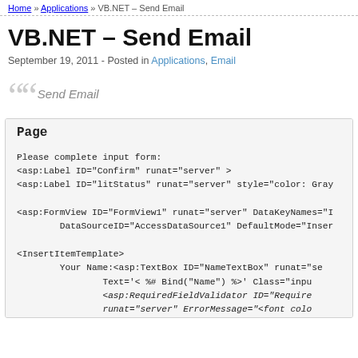Home » Applications » VB.NET – Send Email
VB.NET – Send Email
September 19, 2011 - Posted in Applications, Email
Send Email
Page
Please complete input form:
<asp:Label ID="Confirm" runat="server" >
<asp:Label ID="litStatus" runat="server" style="color: Gray

<asp:FormView ID="FormView1" runat="server" DataKeyNames="I
        DataSourceID="AccessDataSource1" DefaultMode="Inser

<InsertItemTemplate>
        Your Name:<asp:TextBox ID="NameTextBox" runat="se
                Text='< %# Bind("Name") %>' Class="inpu
                <asp:RequiredFieldValidator ID="Require
                runat="server" ErrorMessage="<font colo
                ControlToValidate "NameTextBox"> (con